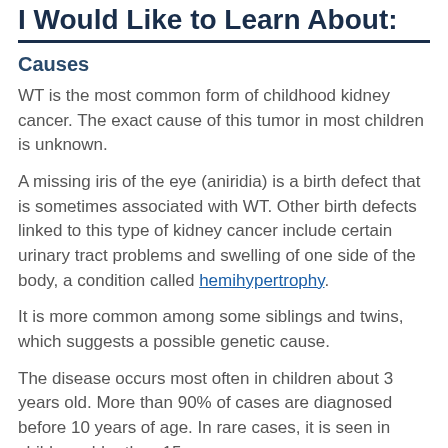I Would Like to Learn About:
Causes
WT is the most common form of childhood kidney cancer. The exact cause of this tumor in most children is unknown.
A missing iris of the eye (aniridia) is a birth defect that is sometimes associated with WT. Other birth defects linked to this type of kidney cancer include certain urinary tract problems and swelling of one side of the body, a condition called hemihypertrophy.
It is more common among some siblings and twins, which suggests a possible genetic cause.
The disease occurs most often in children about 3 years old. More than 90% of cases are diagnosed before 10 years of age. In rare cases, it is seen in children older than 15 years